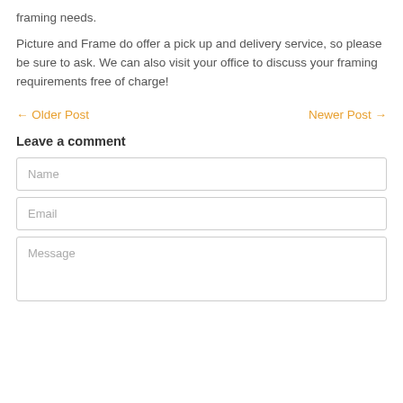framing needs.
Picture and Frame do offer a pick up and delivery service, so please be sure to ask. We can also visit your office to discuss your framing requirements free of charge!
← Older Post    Newer Post →
Leave a comment
[Figure (other): Name input field (text box placeholder)]
[Figure (other): Email input field (text box placeholder)]
[Figure (other): Message textarea (text box placeholder)]